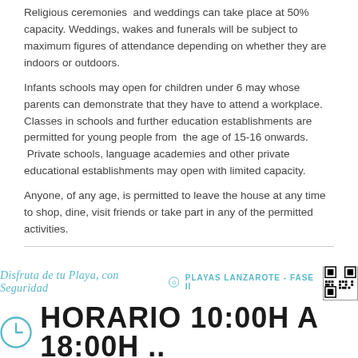Religious ceremonies and weddings can take place at 50% capacity. Weddings, wakes and funerals will be subject to maximum figures of attendance depending on whether they are indoors or outdoors.
Infants schools may open for children under 6 may whose parents can demonstrate that they have to attend a workplace. Classes in schools and further education establishments are permitted for young people from the age of 15-16 onwards. Private schools, language academies and other private educational establishments may open with limited capacity.
Anyone, of any age, is permitted to leave the house at any time to shop, dine, visit friends or take part in any of the permitted activities.
[Figure (infographic): Banner for Playas Lanzarote Fase II showing 'Disfruta de tu Playa, con Seguridad' with a beach hours schedule: HORARIO 10:00H A 18:00H, with a clock icon and QR code.]